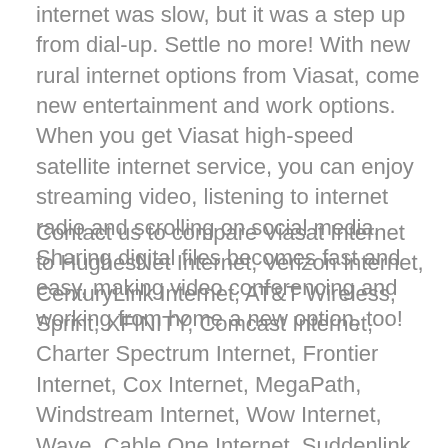internet was slow, but it was a step up from dial-up. Settle no more! With new rural internet options from Viasat, come new entertainment and work options. When you get Viasat high-speed satellite internet service, you can enjoy streaming video, listening to internet radio and scrolling on social media. Sharing digital files becomes fast and easy, making video conferencing and working from home a new option, too!
Contact us to compare Viasat Internet to HughesNet Internet, Verizon Internet, CenturyLink Internet, AT&T Wireless, Sprint, XFINITY, Comcast Internet, Charter Spectrum Internet, Frontier Internet, Cox Internet, MegaPath, Windstream Internet, Wow Internet, Wave, Cable One Internet, Suddenlink Internet, Mediacom Internet, T-Mobile, DIRECTV Satellite Internet, Dish Network Satellite Internet and Verizon Fios Internet. Also compare to Agile Networks, EarthLink Internet, Triad Wireless, Cricket Wireless, Rise Broadband, US Cellular,